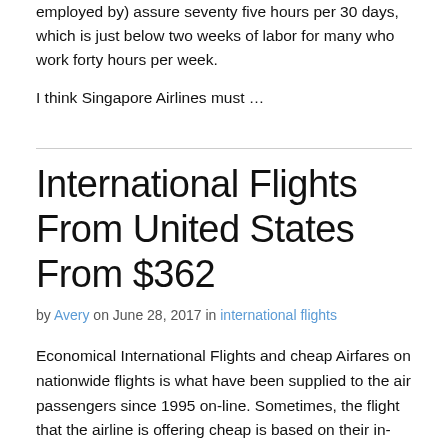employed by) assure seventy five hours per 30 days, which is just below two weeks of labor for many who work forty hours per week.
I think Singapore Airlines must …
International Flights From United States From $362
by Avery on June 28, 2017 in international flights
Economical International Flights and cheap Airfares on nationwide flights is what have been supplied to the air passengers since 1995 on-line. Sometimes, the flight that the airline is offering cheap is based on their in-house value per seat and value per flown miles fares structure. Usually they've surprisingly low cost flights